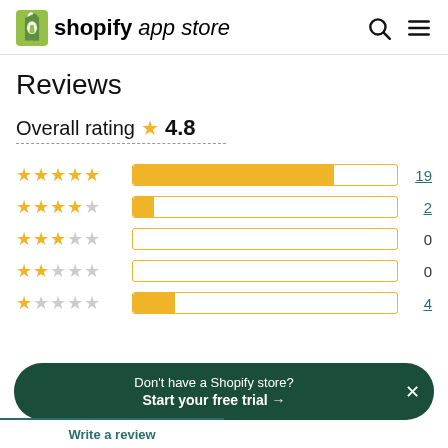shopify app store
Reviews
Overall rating ★ 4.8
[Figure (bar-chart): Rating distribution]
Don't have a Shopify store? Start your free trial →
Write a review